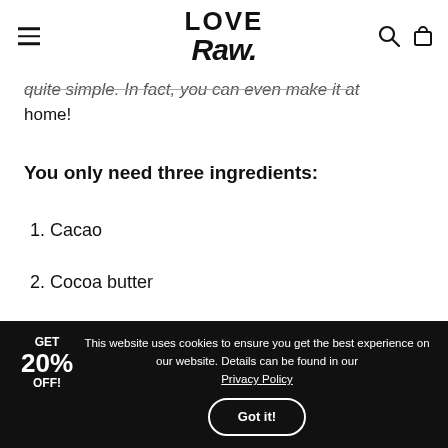LOVE Raw (logo) — navigation header with hamburger menu, search and cart icons
quite simple. In fact, you can even make it at home!
You only need three ingredients:
1. Cacao
2. Cocoa butter
3. Agave
This website uses cookies to ensure you get the best experience on our website. Details can be found in our Privacy Policy
Got it!